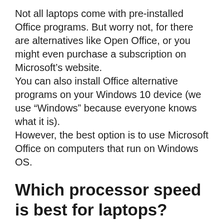Not all laptops come with pre-installed Office programs. But worry not, for there are alternatives like Open Office, or you might even purchase a subscription on Microsoft’s website. You can also install Office alternative programs on your Windows 10 device (we use “Windows” because everyone knows what it is). However, the best option is to use Microsoft Office on computers that run on Windows OS.
Which processor speed is best for laptops?
The frequency of a processor is measured in gigahertz. But bottom line, 3.5GHz to 4.0GHz